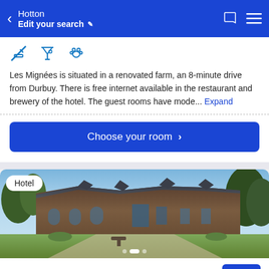Hotton — Edit your search
[Figure (screenshot): Amenity icons: no smoking, bar/cocktail, pets allowed]
Les Mignées is situated in a renovated farm, an 8-minute drive from Durbuy. There is free internet available in the restaurant and brewery of the hotel. The guest rooms have mode... Expand
Choose your room >
[Figure (photo): Exterior photo of Hotel La Grande Cure — a stone building with slate roof set in green grounds, with Hotel badge overlay]
Hotel – La Grande Cure
8.0